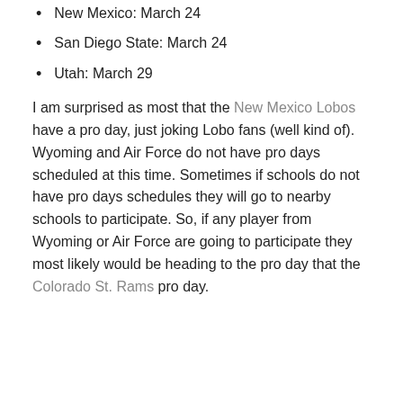New Mexico: March 24
San Diego State: March 24
Utah: March 29
I am surprised as most that the New Mexico Lobos have a pro day, just joking Lobo fans (well kind of). Wyoming and Air Force do not have pro days scheduled at this time. Sometimes if schools do not have pro days schedules they will go to nearby schools to participate. So, if any player from Wyoming or Air Force are going to participate they most likely would be heading to the pro day that the Colorado St. Rams pro day.